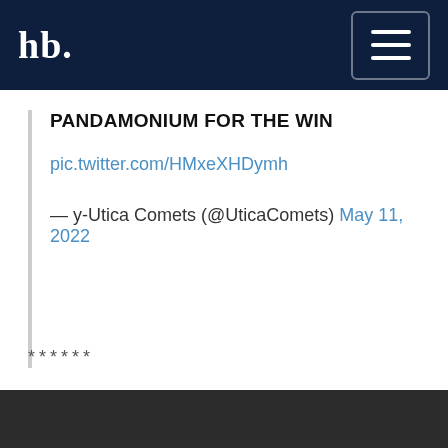hb. [logo] — navigation header
PANDAMONIUM FOR THE WIN
pic.twitter.com/HMxeXHDymh
— y-Utica Comets (@UticaComets) May 11, 2022
******